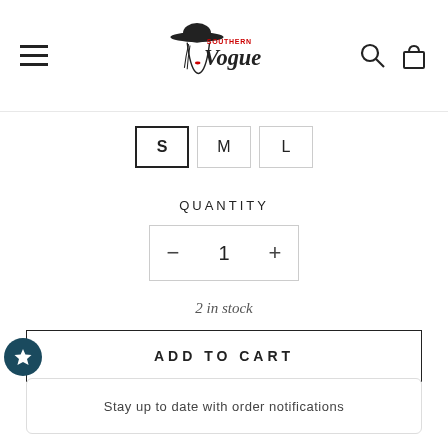[Figure (logo): Southern Vogue logo with a woman in a hat, script lettering]
S   M   L
QUANTITY
- 1 +
2 in stock
ADD TO CART
Stay up to date with order notifications